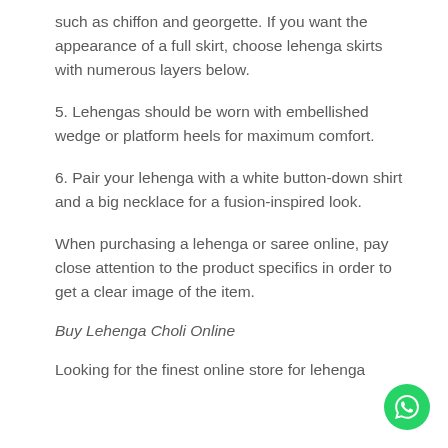such as chiffon and georgette. If you want the appearance of a full skirt, choose lehenga skirts with numerous layers below.
5. Lehengas should be worn with embellished wedge or platform heels for maximum comfort.
6. Pair your lehenga with a white button-down shirt and a big necklace for a fusion-inspired look.
When purchasing a lehenga or saree online, pay close attention to the product specifics in order to get a clear image of the item.
Buy Lehenga Choli Online
Looking for the finest online store for lehenga